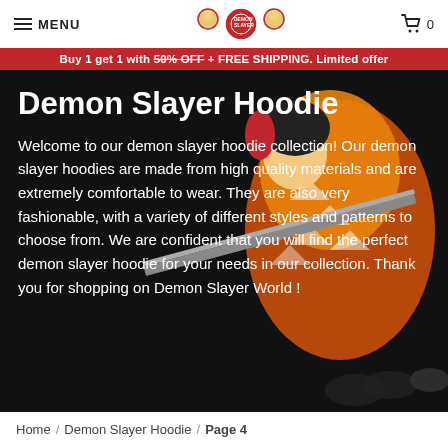MENU | Demon Slayer [logo] | 0
Buy 1 get 1 with 50% OFF + FREE SHIPPING. Limited offer
Demon Slayer Hoodie
Welcome to our demon slayer hoodie collection! Our demon slayer hoodies are made from high quality materials and are extremely comfortable to wear. They are also very fashionable, with a variety of different styles and patterns to choose from. We are confident that you will find the perfect demon slayer hoodie for your needs in our collection. Thank you for shopping on Demon Slayer World !
Home / Demon Slayer Hoodie / Page 4